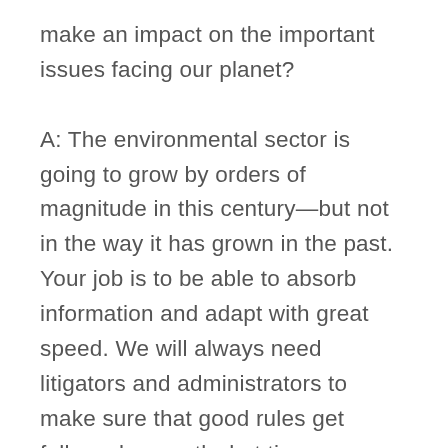make an impact on the important issues facing our planet?

A: The environmental sector is going to grow by orders of magnitude in this century—but not in the way it has grown in the past. Your job is to be able to absorb information and adapt with great speed. We will always need litigators and administrators to make sure that good rules get followed correctly, but times are changing, and even these will need a broader skill set that encompasses how business, tax, tech, and several other areas operate. We will need patent attorneys to work for the innovators like TESLA. We will need legal diligence for social